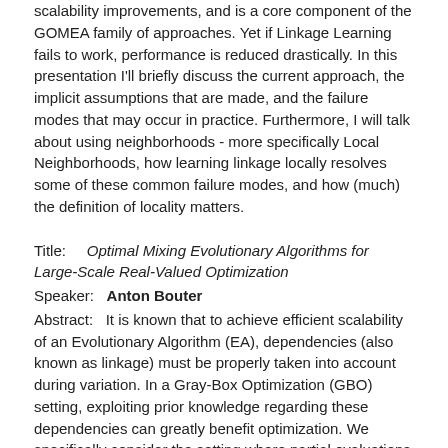scalability improvements, and is a core component of the GOMEA family of approaches. Yet if Linkage Learning fails to work, performance is reduced drastically. In this presentation I'll briefly discuss the current approach, the implicit assumptions that are made, and the failure modes that may occur in practice. Furthermore, I will talk about using neighborhoods - more specifically Local Neighborhoods, how learning linkage locally resolves some of these common failure modes, and how (much) the definition of locality matters.
Title: Optimal Mixing Evolutionary Algorithms for Large-Scale Real-Valued Optimization
Speaker: Anton Bouter
Abstract: It is known that to achieve efficient scalability of an Evolutionary Algorithm (EA), dependencies (also known as linkage) must be properly taken into account during variation. In a Gray-Box Optimization (GBO) setting, exploiting prior knowledge regarding these dependencies can greatly benefit optimization. We specifically consider the setting where partial evaluations are possible, meaning that the partial modification of a solution can be efficiently evaluated. Such problems are potentially very difficult, e.g., non-separable, multi-modal, and multi-objective. The Gene-pool Optimal Mixing Evolutionary Algorithm (GOMEA) can effectively exploit partial evaluations, leading to a substantial improvement in performance and scalability. Such partial